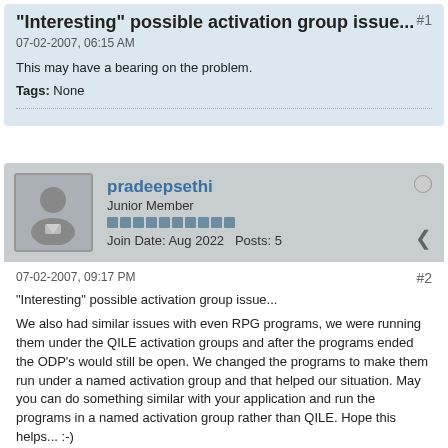"Interesting" possible activation group issue...  #1
07-02-2007, 06:15 AM
This may have a bearing on the problem.
Tags: None
pradeepsethi
Junior Member
Join Date: Aug 2022  Posts: 5
07-02-2007, 09:17 PM  #2
"Interesting" possible activation group issue...
We also had similar issues with even RPG programs, we were running them under the QILE activation groups and after the programs ended the ODP's would still be open. We changed the programs to make them run under a named activation group and that helped our situation. May you can do something similar with your application and run the programs in a named activation group rather than QILE. Hope this helps... :-)